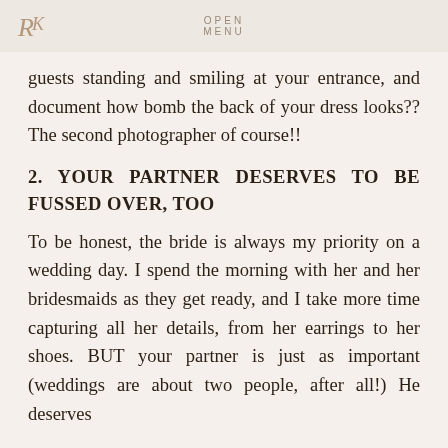OPEN MENU
guests standing and smiling at your entrance, and document how bomb the back of your dress looks?? The second photographer of course!!
2. YOUR PARTNER DESERVES TO BE FUSSED OVER, TOO
To be honest, the bride is always my priority on a wedding day. I spend the morning with her and her bridesmaids as they get ready, and I take more time capturing all her details, from her earrings to her shoes. BUT your partner is just as important (weddings are about two people, after all!) He deserves